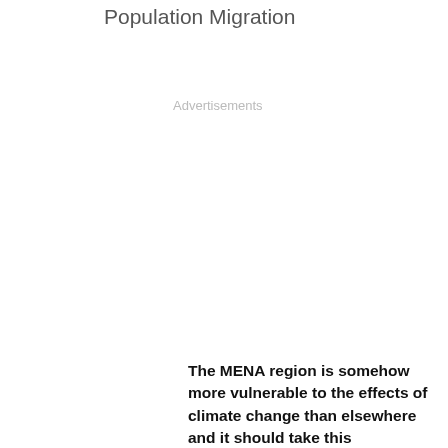Population Migration
Advertisements
The MENA region is somehow more vulnerable to the effects of climate change than elsewhere and it should take this opportunity to focus on its socio-